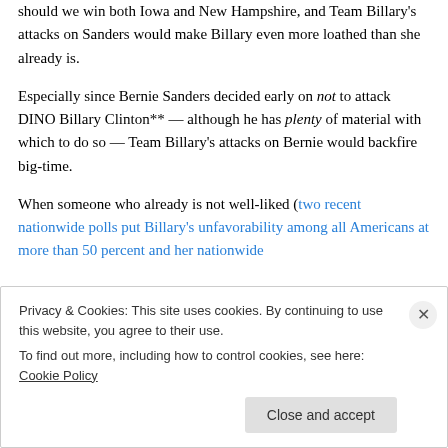should we win both Iowa and New Hampshire, and Team Billary's attacks on Sanders would make Billary even more loathed than she already is.
Especially since Bernie Sanders decided early on not to attack DINO Billary Clinton** — although he has plenty of material with which to do so — Team Billary's attacks on Bernie would backfire big-time.
When someone who already is not well-liked (two recent nationwide polls put Billary's unfavorability among all Americans at more than 50 percent and her nationwide
Privacy & Cookies: This site uses cookies. By continuing to use this website, you agree to their use.
To find out more, including how to control cookies, see here: Cookie Policy